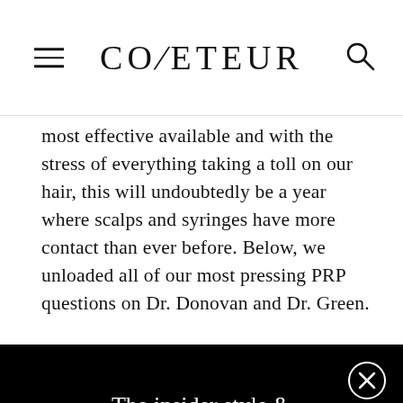COVETEUR
most effective available and with the stress of everything taking a toll on our hair, this will undoubtedly be a year where scalps and syringes have more contact than ever before. Below, we unloaded all of our most pressing PRP questions on Dr. Donovan and Dr. Green.
[Figure (screenshot): Newsletter signup modal overlay with black background. Text reads: 'The insider style & beauty essentials you need. Direct to your inbox, every day.' with an email input field showing 'EMAIL@EXAMPLE.COM' placeholder and a 'SIGN UP' button. A close (X) button appears in the top-right of the modal.]